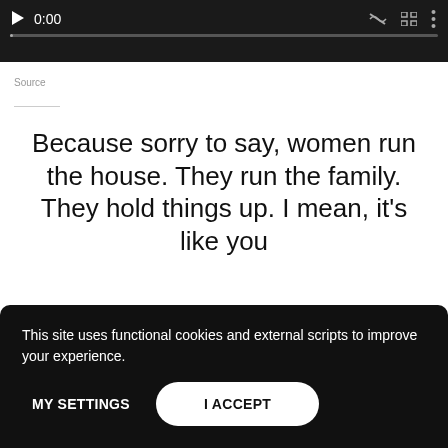[Figure (screenshot): Video player bar showing play button, time display '0:00', mute icon, fullscreen icon, and more options icon, with a progress bar below.]
Source
Because sorry to say, women run the house. They run the family. They hold things up. I mean, it's like you
This site uses functional cookies and external scripts to improve your experience.
MY SETTINGS
I ACCEPT